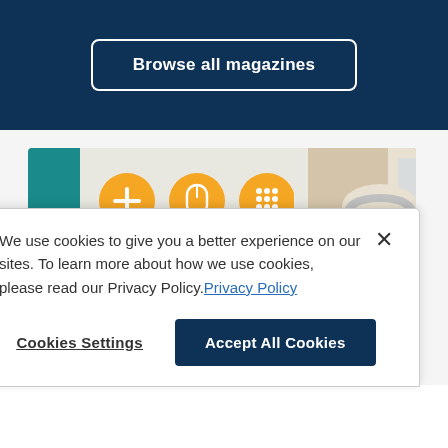Browse all magazines
[Figure (illustration): Article banner image showing accessibility icons (plus, mouse, grid, eye, headphones, shuffle) on teal background and a smiling older man wearing white headphones on photo background.]
Keeping Up with Accessibility Standards for Digital Magazine
We use cookies to give you a better experience on our sites. To learn more about how we use cookies, please read our Privacy Policy. Privacy Policy
Cookies Settings
Accept All Cookies